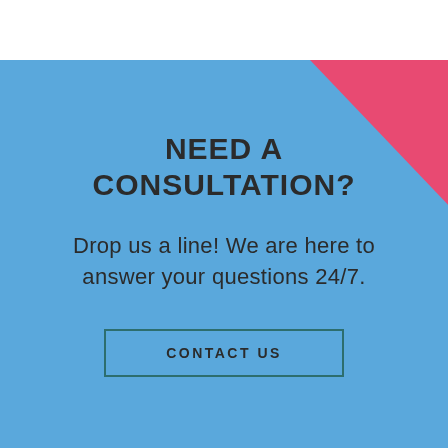[Figure (infographic): Split diagonal background: left side is blue (#4da6e0), right side is pink/red (#e84a72), divided by a diagonal line from upper-center to lower-right]
NEED A CONSULTATION?
Drop us a line! We are here to answer your questions 24/7.
CONTACT US